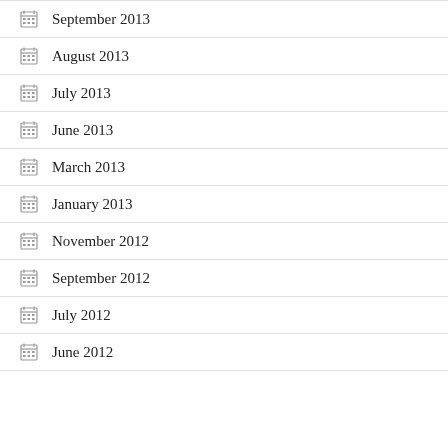September 2013
August 2013
July 2013
June 2013
March 2013
January 2013
November 2012
September 2012
July 2012
June 2012